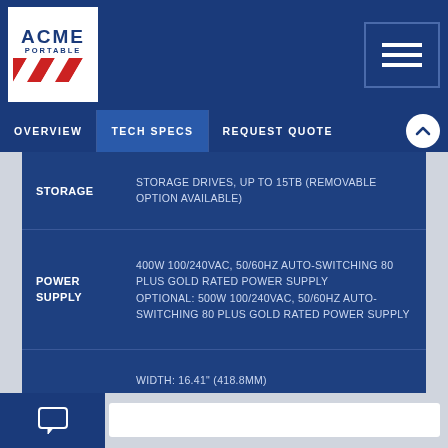[Figure (logo): ACME PORTABLE logo with red/white diagonal stripes]
OVERVIEW   TECH SPECS   REQUEST QUOTE
| SPEC | VALUE |
| --- | --- |
| STORAGE | STORAGE DRIVES, UP TO 15TB (REMOVABLE OPTION AVAILABLE) |
| POWER SUPPLY | 400W 100/240VAC, 50/60HZ AUTO-SWITCHING 80 PLUS GOLD RATED POWER SUPPLY
OPTIONAL: 500W 100/240VAC, 50/60HZ AUTO-SWITCHING 80 PLUS GOLD RATED POWER SUPPLY |
| DIMENSIONS | WIDTH: 16.41" (418.8MM)
HEIGHT: 12.40" (315MM)
DEPTH: 4.39" (111.5MM) |
| WEIGHT | ~16.5 LBS (7.5KG) |